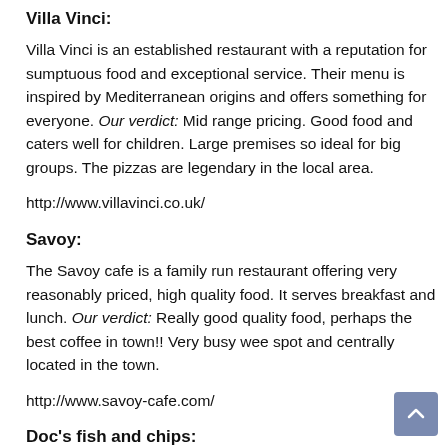Villa Vinci:
Villa Vinci is an established restaurant with a reputation for sumptuous food and exceptional service. Their menu is inspired by Mediterranean origins and offers something for everyone. Our verdict: Mid range pricing. Good food and caters well for children. Large premises so ideal for big groups. The pizzas are legendary in the local area.
http://www.villavinci.co.uk/
Savoy:
The Savoy cafe is a family run restaurant offering very reasonably priced, high quality food. It serves breakfast and lunch. Our verdict: Really good quality food, perhaps the best coffee in town!! Very busy wee spot and centrally located in the town.
http://www.savoy-cafe.com/
Doc's fish and chips: